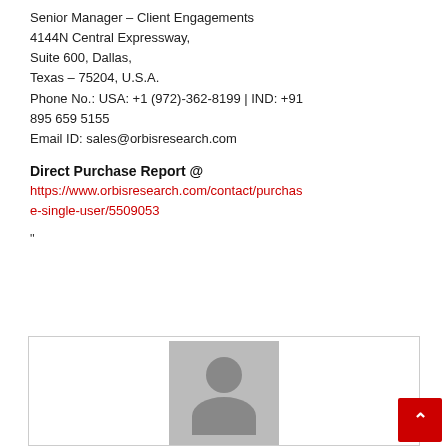Senior Manager – Client Engagements
4144N Central Expressway,
Suite 600, Dallas,
Texas – 75204, U.S.A.
Phone No.: USA: +1 (972)-362-8199 | IND: +91 895 659 5155
Email ID: sales@orbisresearch.com
Direct Purchase Report @
https://www.orbisresearch.com/contact/purchase-single-user/5509053
"
[Figure (photo): Grey placeholder avatar with head and shoulders silhouette in a bordered box]